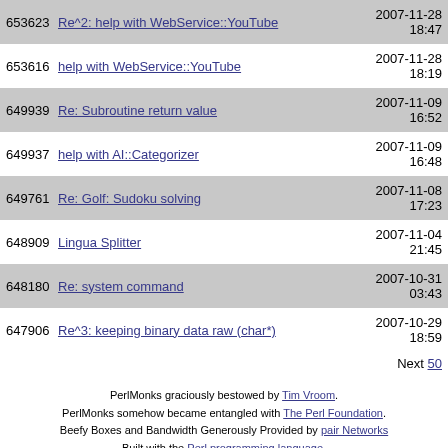| ID | Title | Date |
| --- | --- | --- |
| 653623 | Re^2: help with WebService::YouTube | 2007-11-28 18:47 |
| 653616 | help with WebService::YouTube | 2007-11-28 18:19 |
| 649939 | Re: Subroutine return value | 2007-11-09 16:52 |
| 649937 | help with AI::Categorizer | 2007-11-09 16:48 |
| 649761 | Re: Golf: Sudoku solving | 2007-11-08 17:23 |
| 648909 | Lingua Splitter | 2007-11-04 21:45 |
| 648180 | Re: system command | 2007-10-31 03:43 |
| 647906 | Re^3: keeping binary data raw (char*) | 2007-10-29 18:59 |
Next 50
PerlMonks graciously bestowed by Tim Vroom. PerlMonks somehow became entangled with The Perl Foundation. Beefy Boxes and Bandwidth Generously Provided by pair Networks Built with the Perl programming language.